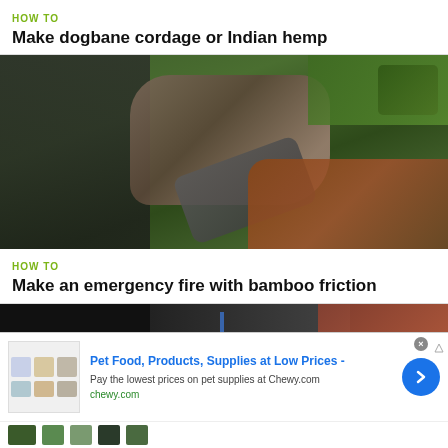HOW TO
Make dogbane cordage or Indian hemp
[Figure (photo): Person outdoors kneeling on ground processing plant fibers with a blade, surrounded by grass and leaves]
HOW TO
Make an emergency fire with bamboo friction
[Figure (photo): Dark outdoor scene partially visible — fire-making tutorial thumbnail]
[Figure (infographic): Advertisement banner: Pet Food, Products, Supplies at Low Prices - chewy.com with product images and a blue arrow button]